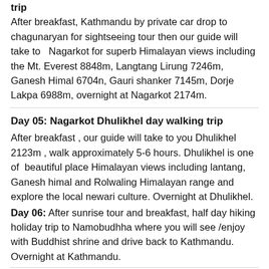trip
After breakfast, Kathmandu by private car drop to chagunaryan for sightseeing tour then our guide will take to  Nagarkot for superb Himalayan views including the Mt. Everest 8848m, Langtang Lirung 7246m, Ganesh Himal 6704n, Gauri shanker 7145m, Dorje Lakpa 6988m, overnight at Nagarkot 2174m.
Day 05: Nagarkot Dhulikhel day walking trip
After breakfast , our guide will take to you Dhulikhel 2123m , walk approximately 5-6 hours. Dhulikhel is one of  beautiful place Himalayan views including lantang, Ganesh himal and Rolwaling Himalayan range and explore the local newari culture. Overnight at Dhulikhel.
Day 06: After sunrise tour and breakfast, half day hiking holiday trip to Namobudhha where you will see /enjoy with Buddhist shrine and drive back to Kathmandu. Overnight at Kathmandu.
Day 07: After breakfast , Kathmandu by flight /private vehicle or tourist bus to Pokhara 915m, excursion around pokhara valley by your own. Overnight at